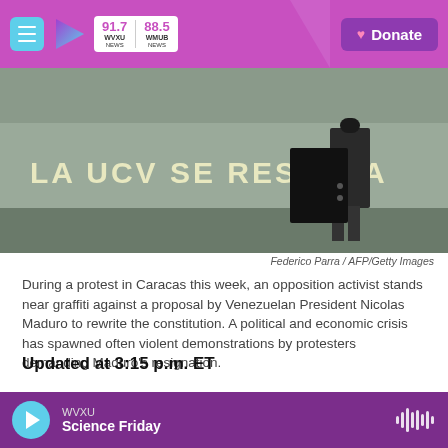WVXU 91.7 NEWS / WMUB 88.5 NEWS — Donate
[Figure (photo): Photo of an opposition activist near graffiti reading 'LA UCV SE RESPETA' during a protest in Caracas, Venezuela]
Federico Parra / AFP/Getty Images
During a protest in Caracas this week, an opposition activist stands near graffiti against a proposal by Venezuelan President Nicolas Maduro to rewrite the constitution. A political and economic crisis has spawned often violent demonstrations by protesters demanding Maduro's resignation.
Updated at 3:15 p.m. ET
Venezuelan President Nicolas Maduro is describing Tuesday's helicopter assault on the country's
WVXU — Science Friday